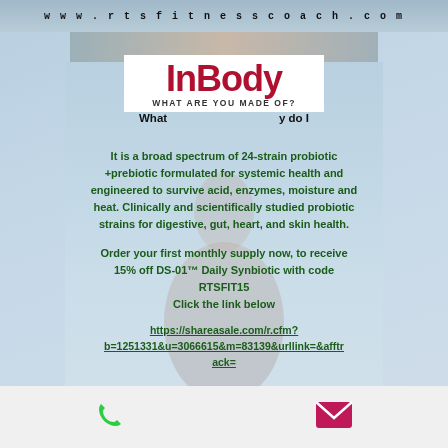www.rtsfitnesscoach.com
[Figure (logo): InBody logo — red bold text 'InBody' with tagline 'WHAT ARE YOU MADE OF?' on white background]
What ... y do I ...
It is a broad spectrum of 24-strain probiotic +prebiotic formulated for systemic health and engineered to survive acid, enzymes, moisture and heat. Clinically and scientifically studied probiotic strains for digestive, gut, heart, and skin health.
Order your first monthly supply now, to receive 15% off DS-01™ Daily Synbiotic with code RTSFIT15
Click the link below
https://shareasale.com/r.cfm?b=1251331&u=3066615&m=83139&urllink=&afftrack=
phone icon | email icon